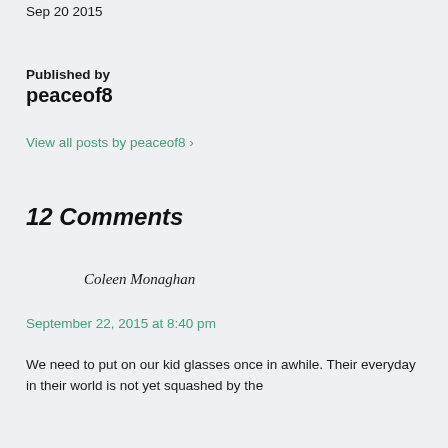Sep 20 2015
Published by
peaceof8
View all posts by peaceof8 ›
12 Comments
Coleen Monaghan
September 22, 2015 at 8:40 pm
We need to put on our kid glasses once in awhile. Their everyday in their world is not yet squashed by the